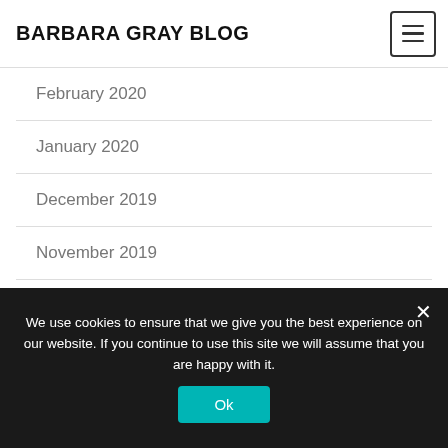BARBARA GRAY BLOG
February 2020
January 2020
December 2019
November 2019
October 2019
September 2019
August 2019
We use cookies to ensure that we give you the best experience on our website. If you continue to use this site we will assume that you are happy with it.